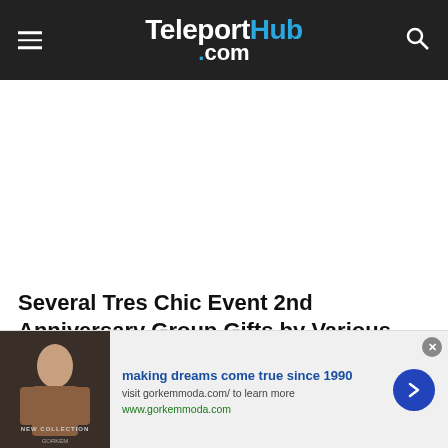TeleportHub.com
Several Tres Chic Event 2nd Anniversary Group Gifts by Various Designers
May 22, 2017
[Figure (infographic): Advertisement banner: image of a woman with 'NEW COLLECTION' text, headline 'making dreams come true since 1990', subtext 'visit gorkemmoda.com/ to learn more', link 'www.gorkemmoda.com', with arrow button and close button]